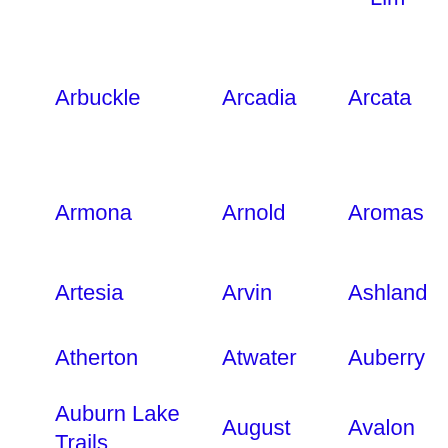Arbuckle
Arcadia
Arcata
Arde
Arca
Armona
Arnold
Aromas
Arro
Gran
Artesia
Arvin
Ashland
Atas
Atherton
Atwater
Auberry
Aub
Auburn Lake Trails
August
Avalon
Aven
Avila Beach
Avocado Heights
Azusa
Bake